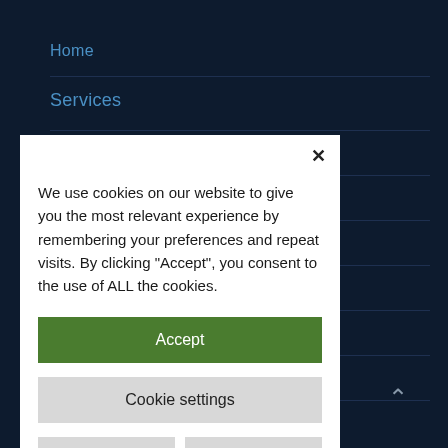Home
Services
[Figure (screenshot): Cookie consent modal dialog on a dark navy website background. The modal is white with an X close button, body text explaining cookie usage, a green Accept button, a grey Cookie settings button, and two grey buttons: Reject and Learn More.]
We use cookies on our website to give you the most relevant experience by remembering your preferences and repeat visits. By clicking “Accept”, you consent to the use of ALL the cookies.
Accept
Cookie settings
Reject
Learn More